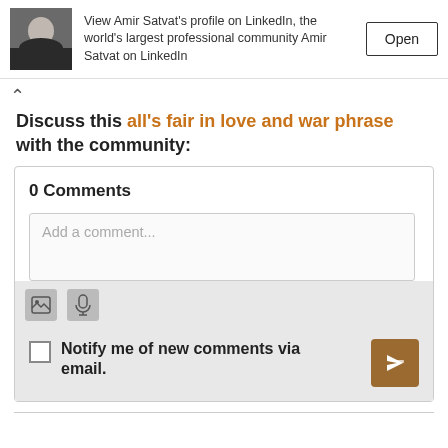[Figure (screenshot): LinkedIn profile banner showing a photo of Amir Satvat with text 'View Amir Satvat’s profile on LinkedIn, the world’s largest professional community Amir Satvat on LinkedIn' and an Open button]
Discuss this all's fair in love and war phrase with the community:
0 Comments
Add a comment...
Notify me of new comments via email.